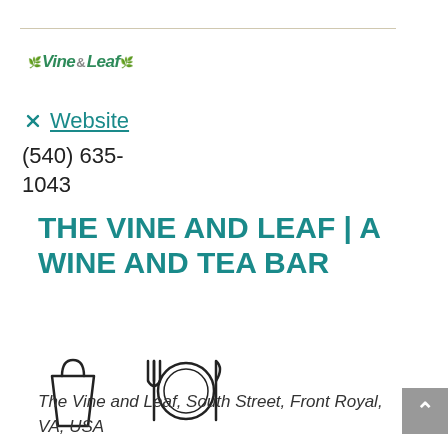[Figure (logo): Vine & Leaf logo with green stylized text and decorative plant elements]
Website
(540) 635-1043
THE VINE AND LEAF | A WINE AND TEA BAR
[Figure (illustration): Two icons: a takeout bag and a plate with fork and knife]
The Vine and Leaf, South Street, Front Royal, VA, USA
Originally opened as a tea and chocolate shop, The Vine